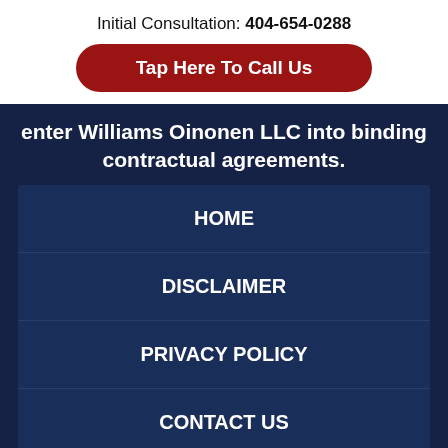Initial Consultation: 404-654-0288
Tap Here To Call Us
enter Williams Oinonen LLC into binding contractual agreements.
HOME
DISCLAIMER
PRIVACY POLICY
CONTACT US